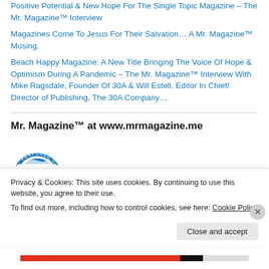Positive Potential & New Hope For The Single Topic Magazine – The Mr. Magazine™ Interview
Magazines Come To Jesus For Their Salvation… A Mr. Magazine™ Musing.
Beach Happy Magazine: A New Title Bringing The Voice Of Hope & Optimism During A Pandemic – The Mr. Magazine™ Interview With Mike Ragsdale, Founder Of 30A & Will Estell, Editor In Chief/ Director of Publishing, The 30A Company…
Mr. Magazine™ at www.mrmagazine.me
[Figure (logo): Featured On badge - circular blue badge with 'FEATURED ON' text and wave graphic]
Privacy & Cookies: This site uses cookies. By continuing to use this website, you agree to their use.
To find out more, including how to control cookies, see here: Cookie Policy